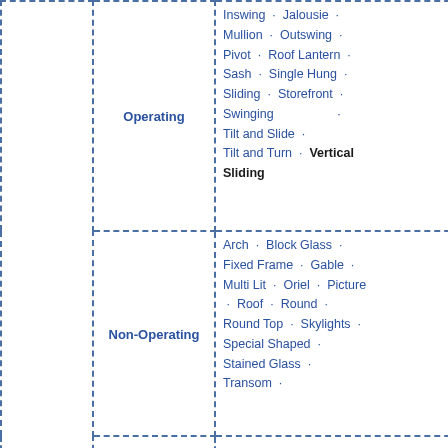|  | Category | Types |
| --- | --- | --- |
|  | Operating | Inswing · Jalousie · Mullion · Outswing · Pivot · Roof Lantern · Sash · Single Hung · Sliding · Storefront · Swinging · Tilt and Slide · Tilt and Turn · Vertical Sliding |
|  | Non-Operating | Arch · Block Glass · Fixed Frame · Gable · Multi Lit · Oriel · Picture · Roof · Round · Round Top · Skylights · Special Shaped · Stained Glass · Transom · |
|  | Combinations | Bay · Bow · |
|  | General | New Construction · Retrofit · Smart · Solar · Soundproof · |